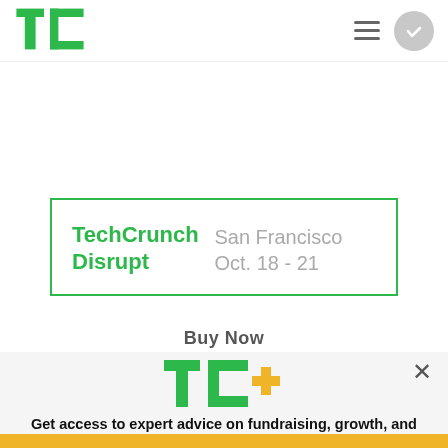[Figure (logo): TechCrunch TC logo in green]
[Figure (other): Hamburger menu icon and gray avatar button with checkmark]
TechCrunch Disrupt
San Francisco Oct. 18 - 21
Buy Now
[Figure (logo): TC+ logo in green and yellow]
Get access to expert advice on fundraising, growth, and management for your startup.
EXPLORE NOW